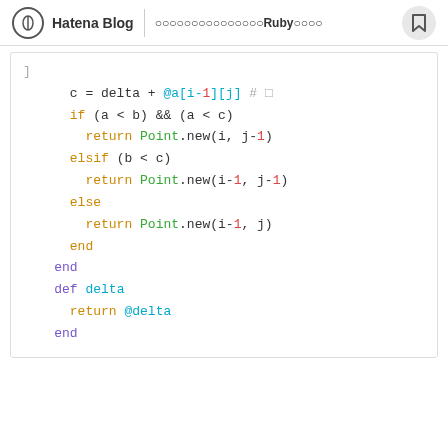Hatena Blog | ○○○○○○○○○○○○○○○○Rubyのコード
[Figure (screenshot): Ruby code snippet showing conditional logic with if/elsif/else/end blocks and a delta method definition, syntax highlighted in color]